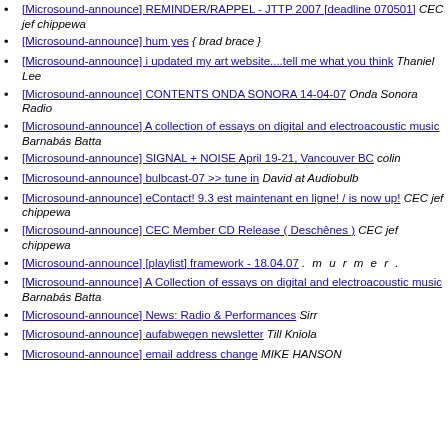[Microsound-announce] REMINDER/RAPPEL - JTTP 2007 [deadline 070501]  CEC jef chippewa
[Microsound-announce] hum yes  { brad brace }
[Microsound-announce] i updated my art website....tell me what you think  Thaniel Lee
[Microsound-announce] CONTENTS ONDA SONORA 14-04-07  Onda Sonora Radio
[Microsound-announce] A collection of essays on digital and electroacoustic music  Barnabás Batta
[Microsound-announce] SIGNAL + NOISE April 19-21, Vancouver BC  colin
[Microsound-announce] bulbcast-07 >> tune in  David at Audiobulb
[Microsound-announce] eContact! 9.3 est maintenant en ligne! / is now up!  CEC jef chippewa
[Microsound-announce] CEC Member CD Release ( Deschênes )  CEC jef chippewa
[Microsound-announce] [playlist] framework - 18.04.07  . m u r m e r .
[Microsound-announce] A Collection of essays on digital and electroacoustic music  Barnabás Batta
[Microsound-announce] News: Radio & Performances  Sirr
[Microsound-announce] aufabwegen newsletter  Till Kniola
[Microsound-announce] email address change  MIKE HANSON